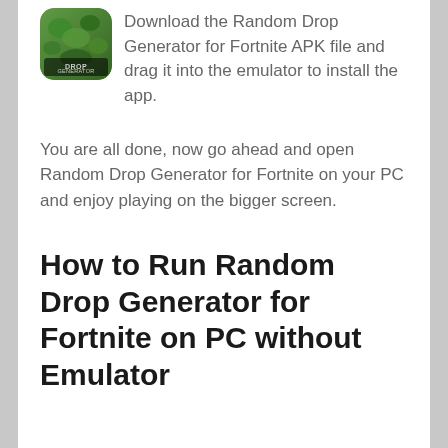[Figure (illustration): App icon for Random Drop Generator with green/nature background and 'DROP GENERATOR' text overlay]
Download the Random Drop Generator for Fortnite APK file and drag it into the emulator to install the app.
You are all done, now go ahead and open Random Drop Generator for Fortnite on your PC and enjoy playing on the bigger screen.
How to Run Random Drop Generator for Fortnite on PC without Emulator